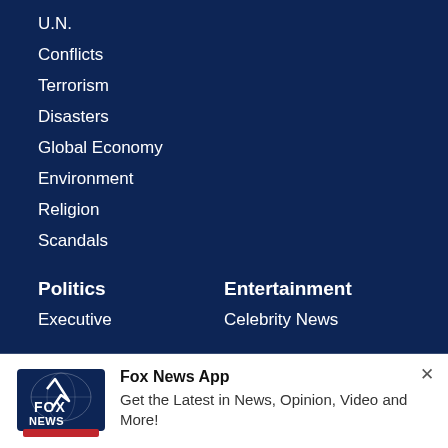U.N.
Conflicts
Terrorism
Disasters
Global Economy
Environment
Religion
Scandals
Politics
Executive
Entertainment
Celebrity News
[Figure (logo): Fox News logo — white FOX text with NEWS below on a dark background with a globe graphic, red underline bar]
Fox News App
Get the Latest in News, Opinion, Video and More!
View in App